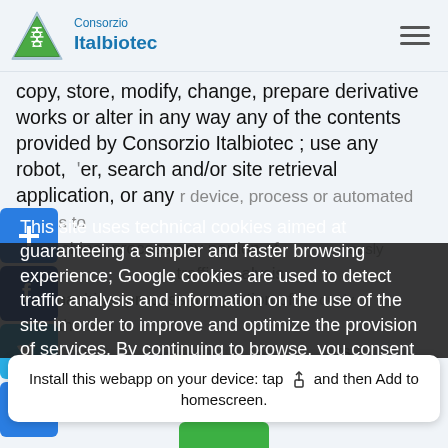[Figure (logo): Consorzio Italbiotec logo with green triangle and text]
copy, store, modify, change, prepare derivative works or alter in any way any of the contents provided by Consorzio Italbiotec ; use any robot, 'er, search and/or site retrieval application, or any r device, process or automated means to ss, nachine, process any portion of, ously xperience; the same expressly traffic analysis ss, nachine, process any portion of, ously the site defamatory or inappropriate content;
This site uses technical cookies aimed at guaranteeing a simpler and faster browsing experience; Google cookies are used to detect traffic analysis and information on the use of the site in order to improve and optimize the provision of services. By continuing to browse, you consent to the use of cookies. Read our cookie policy.
Install this webapp on your device: tap 📤 and then Add to homescreen.